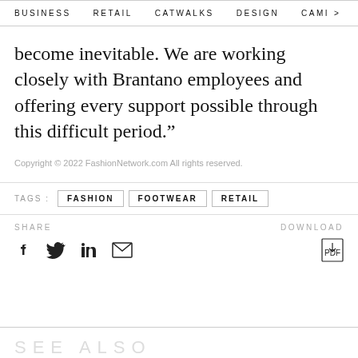BUSINESS   RETAIL   CATWALKS   DESIGN   CAMI >
become inevitable. We are working closely with Brantano employees and offering every support possible through this difficult period.”
Copyright © 2022 FashionNetwork.com All rights reserved.
TAGS: FASHION   FOOTWEAR   RETAIL
SHARE   DOWNLOAD
SEE ALSO